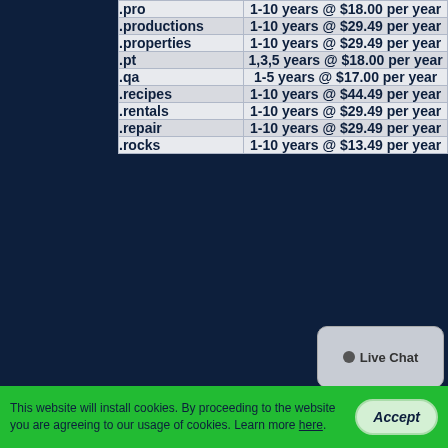| Domain | Pricing |
| --- | --- |
| .pro | 1-10 years @ $18.00 per year |
| .productions | 1-10 years @ $29.49 per year |
| .properties | 1-10 years @ $29.49 per year |
| .pt | 1,3,5 years @ $18.00 per year |
| .qa | 1-5 years @ $17.00 per year |
| .recipes | 1-10 years @ $44.49 per year |
| .rentals | 1-10 years @ $29.49 per year |
| .repair | 1-10 years @ $29.49 per year |
| .rocks | 1-10 years @ $13.49 per year |
This website will install cookies. By proceeding to the website you are agreeing to our usage of cookies. Learn more here.